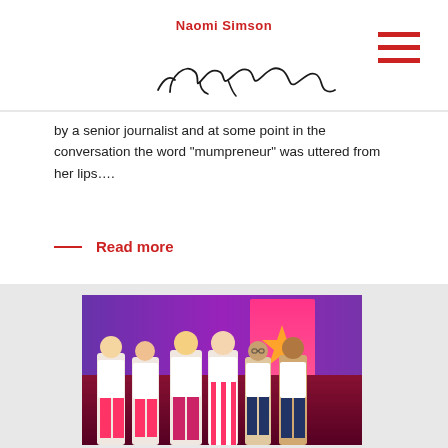Naomi Simson
by a senior journalist and at some point in the conversation the word “mumpreneur” was uttered from her lips….
Read more
[Figure (photo): Group photo of six people in white t-shirts standing together in front of a pink and purple stage backdrop with a banner]